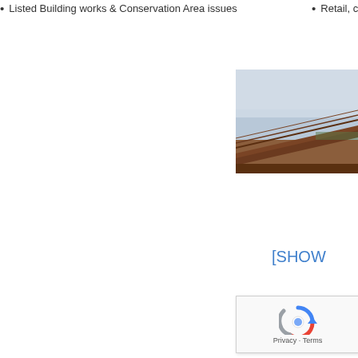Listed Building works & Conservation Area issues
Retail, commercial &
[Figure (photo): Exterior photo of a building roofline under a grey sky, showing angled roof structure with timber or brick detail, partially cropped on the right side of the page.]
[SHOW
[Figure (other): reCAPTCHA widget showing Google reCAPTCHA logo (circular arrows icon) with Privacy and Terms links below.]